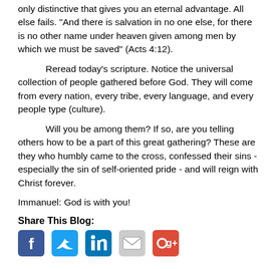only distinctive that gives you an eternal advantage.  All else fails.  "And there is salvation in no one else, for there is no other name under heaven given among men by which we must be saved" (Acts 4:12).
Reread today's scripture.  Notice the universal collection of people gathered before God.  They will come from every nation, every tribe, every language, and every people type (culture).
Will you be among them?  If so, are you telling others how to be a part of this great gathering?  These are they who humbly came to the cross, confessed their sins - especially the sin of self-oriented pride - and will reign with Christ forever.
Immanuel: God is with you!
Share This Blog:
[Figure (other): Social media sharing icons: Facebook, Twitter, LinkedIn, Email, Google+]